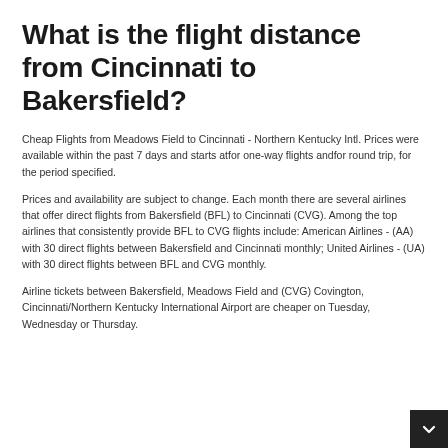What is the flight distance from Cincinnati to Bakersfield?
Cheap Flights from Meadows Field to Cincinnati - Northern Kentucky Intl. Prices were available within the past 7 days and starts atfor one-way flights andfor round trip, for the period specified.
Prices and availability are subject to change. Each month there are several airlines that offer direct flights from Bakersfield (BFL) to Cincinnati (CVG). Among the top airlines that consistently provide BFL to CVG flights include: American Airlines - (AA) with 30 direct flights between Bakersfield and Cincinnati monthly; United Airlines - (UA) with 30 direct flights between BFL and CVG monthly.
Airline tickets between Bakersfield, Meadows Field and (CVG) Covington, Cincinnati/Northern Kentucky International Airport are cheaper on Tuesday, Wednesday or Thursday.